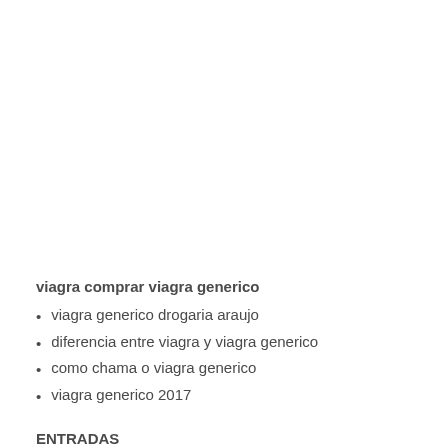viagra comprar viagra generico
viagra generico drogaria araujo
diferencia entre viagra y viagra generico
como chama o viagra generico
viagra generico 2017
ENTRADAS